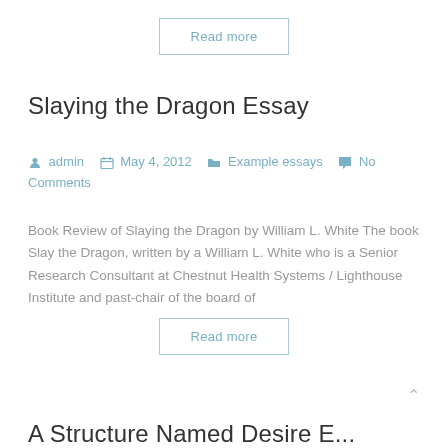Read more
Slaying the Dragon Essay
admin  May 4, 2012  Example essays  No Comments
Book Review of Slaying the Dragon by William L. White The book Slay the Dragon, written by a William L. White who is a Senior Research Consultant at Chestnut Health Systems / Lighthouse Institute and past-chair of the board of
Read more
A Structure Named Desire E...